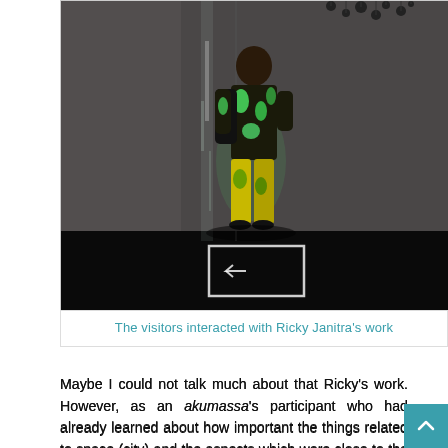[Figure (photo): A person wearing a colorful green and black patterned outfit and backpack stands in a dark gallery room, looking up. There is a light installation projected on a transparent vertical surface in front of them. A white rectangular frame is on the dark floor beneath them. Dark sculptural objects hang from the ceiling in the upper right.]
The visitors interacted with Ricky Janitra's work
Maybe I could not talk much about that Ricky's work. However, as an akumassa's participant who had already learned about how important the things related to space (city) and the aspects which were close to the mass and community, I realized that Ricky's [work] about the sound was cool. The sources of audio